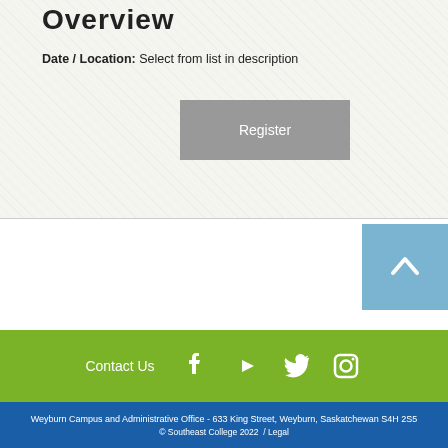Overview
Date / Location: Select from list in description
Register
[Figure (other): Scroll to top button with upward chevron arrow on light blue background]
Contact Us
Weyburn Campus and Administrative Office - 633 King Street, Weyburn, Saskatchewan S4H 2S5
© Southeast College 2022  / Legal